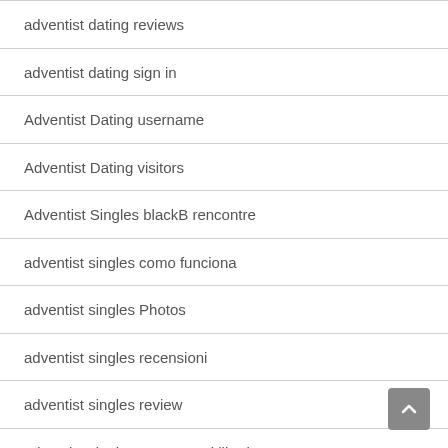adventist dating reviews
adventist dating sign in
Adventist Dating username
Adventist Dating visitors
Adventist Singles blackB rencontre
adventist singles como funciona
adventist singles Photos
adventist singles recensioni
adventist singles review
adventist singles superpoteri liberi
adventist singles visitors
adventist-singles-inceleme dating-site-2021
Adventisten Daten telefoonnummer